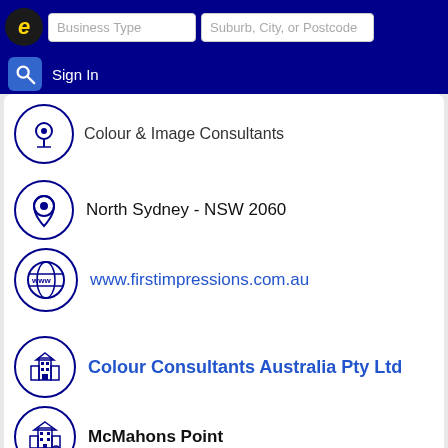Business Type | Suburb, City, or Postcode | Sign In
Colour & Image Consultants
North Sydney - NSW 2060
www.firstimpressions.com.au
↳ More results nearby or related categories
Colour Specialists North Sydney NSW
Uniforms North Sydney NSW
Colour Consultants Australia Pty Ltd
McMahons Point